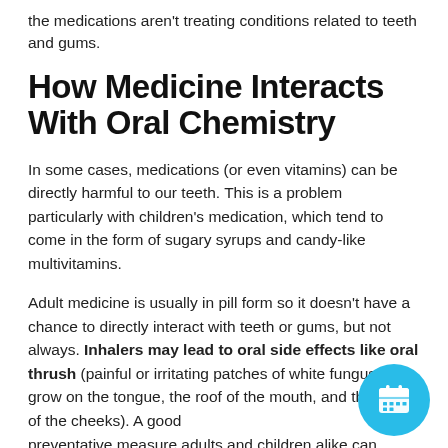the medications aren't treating conditions related to teeth and gums.
How Medicine Interacts With Oral Chemistry
In some cases, medications (or even vitamins) can be directly harmful to our teeth. This is a problem particularly with children's medication, which tend to come in the form of sugary syrups and candy-like multivitamins.
Adult medicine is usually in pill form so it doesn't have a chance to directly interact with teeth or gums, but not always. Inhalers may lead to oral side effects like oral thrush (painful or irritating patches of white fungus that grow on the tongue, the roof of the mouth, and the inside of the cheeks). A good preventative measure adults and children alike can
[Figure (other): Circular teal/cyan calendar icon button overlaid in bottom-right corner]